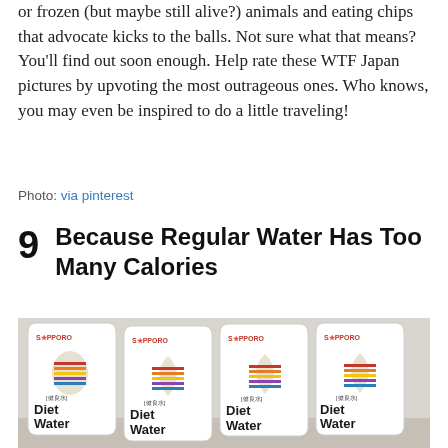or frozen (but maybe still alive?) animals and eating chips that advocate kicks to the balls. Not sure what that means? You'll find out soon enough. Help rate these WTF Japan pictures by upvoting the most outrageous ones. Who knows, you may even be inspired to do a little traveling!
Photo: via pinterest
9   Because Regular Water Has Too Many Calories
[Figure (photo): Multiple bottles of Sapporo 'Diet Water' arranged in a row on a store shelf. Each bottle has a colorful teardrop logo with horizontal stripes (red, orange, yellow) and Japanese text. The bottles are labeled 'Diet Water' in large text.]